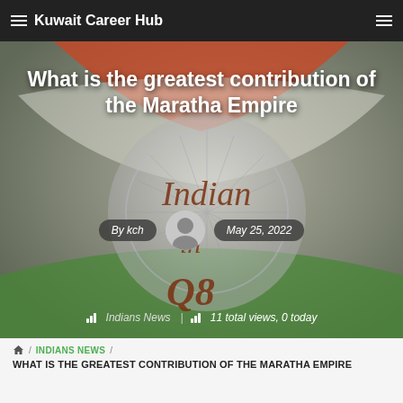Kuwait Career Hub
[Figure (photo): Hero image showing Indian flag graphic with text 'Indian in Q8' overlaid, serving as article header background]
What is the greatest contribution of the Maratha Empire
By kch  |  May 25, 2022
Indians News  |  11 total views, 0 today
🏠 / INDIANS NEWS / WHAT IS THE GREATEST CONTRIBUTION OF THE MARATHA EMPIRE